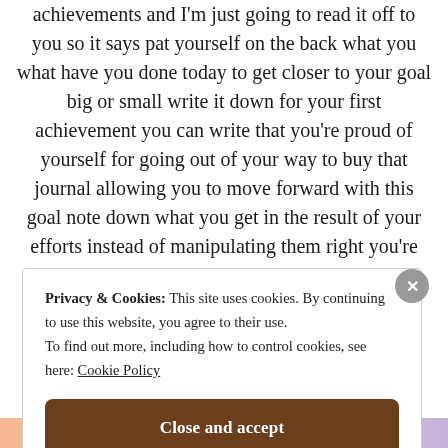achievements and I'm just going to read it off to you so it says pat yourself on the back what you what have you done today to get closer to your goal big or small write it down for your first achievement you can write that you're proud of yourself for going out of your way to buy that journal allowing you to move forward with this goal note down what you get in the result of your efforts instead of manipulating them right you're required precisely another chapter explains the importance of this in further detail but
Privacy & Cookies: This site uses cookies. By continuing to use this website, you agree to their use. To find out more, including how to control cookies, see here: Cookie Policy
Close and accept